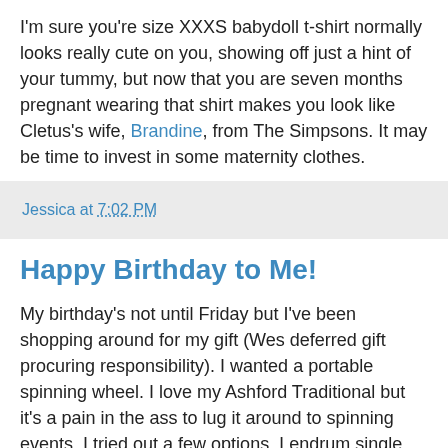I'm sure you're size XXXS babydoll t-shirt normally looks really cute on you, showing off just a hint of your tummy, but now that you are seven months pregnant wearing that shirt makes you look like Cletus's wife, Brandine, from The Simpsons. It may be time to invest in some maternity clothes.
Jessica at 7:02 PM
Happy Birthday to Me!
My birthday's not until Friday but I've been shopping around for my gift (Wes deferred gift procuring responsibility). I wanted a portable spinning wheel. I love my Ashford Traditional but it's a pain in the ass to lug it around to spinning events. I tried out a few options, Lendrum single and double treadle and an Ashford Joy. The Lendrum double treadle was very smooth but I really don't like having to sit up straight facing the wheel. The Joy just didn't do it for me. I couldn't get a rhythm going with it and it felt a little tight and